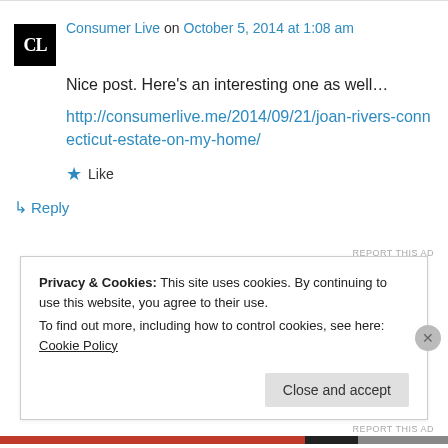Consumer Live on October 5, 2014 at 1:08 am
Nice post. Here's an interesting one as well…
http://consumerlive.me/2014/09/21/joan-rivers-connecticut-estate-on-my-home/
★ Like
↳ Reply
REPORT THIS AD
Privacy & Cookies: This site uses cookies. By continuing to use this website, you agree to their use.
To find out more, including how to control cookies, see here: Cookie Policy
Close and accept
REPORT THIS AD